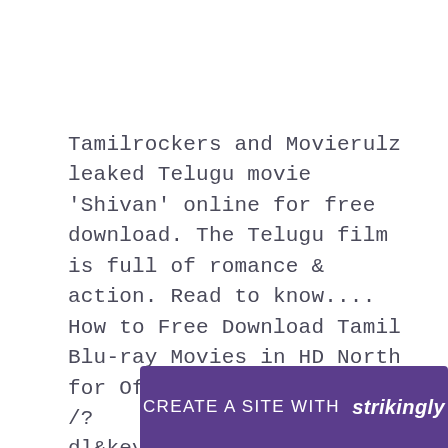Tamilrockers and Movierulz leaked Telugu movie &#39;Shivan&#39; online for free download. The Telugu film is full of romance & action. Read to know.... How to Free Download Tamil Blu-ray Movies in HD North for Offline Watching. ... /?dl&keyword=Torrent+download+hd+telugu+movie+aa+aaru&source=gmaps. Telugu songs download,free download Telugu songs,Telugu movie songs ... Wat Sce .
CREATE A SITE WITH strikingly